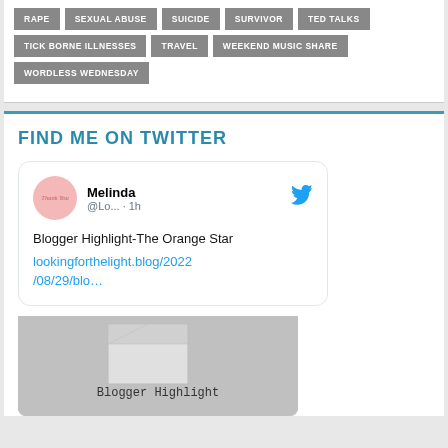RAPE
SEXUAL ABUSE
SUICIDE
SURVIVOR
TED TALKS
TICK BORNE ILLNESSES
TRAVEL
WEEKEND MUSIC SHARE
WORDLESS WEDNESDAY
FIND ME ON TWITTER
[Figure (screenshot): Twitter embed card showing user Melinda @Lo... tweeting 1h ago: Blogger Highlight-The Orange Star lookingforthelight.blog/2022/08/29/blo... with an image labeled Blogger Highlight]